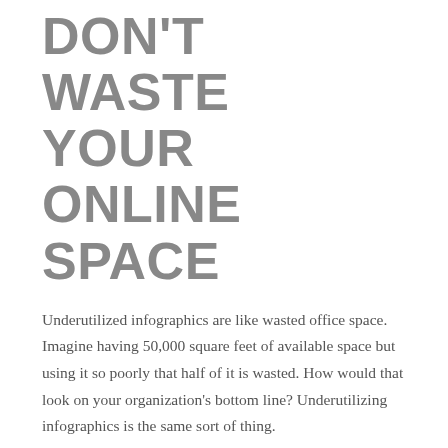DON'T WASTE YOUR ONLINE SPACE
Underutilized infographics are like wasted office space. Imagine having 50,000 square feet of available space but using it so poorly that half of it is wasted. How would that look on your organization's bottom line? Underutilizing infographics is the same sort of thing.
Infographics are like gold to healthcare marketing. They reach consumers where they are, providing important and relevant information in a way that is easy to understand and just as easy to digest.